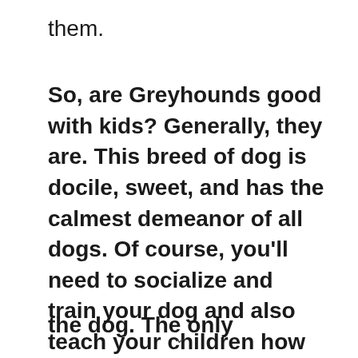them.
So, are Greyhounds good with kids? Generally, they are. This breed of dog is docile, sweet, and has the calmest demeanor of all dogs. Of course, you'll need to socialize and train your dog and also teach your children how to behave around the dog. The only potential